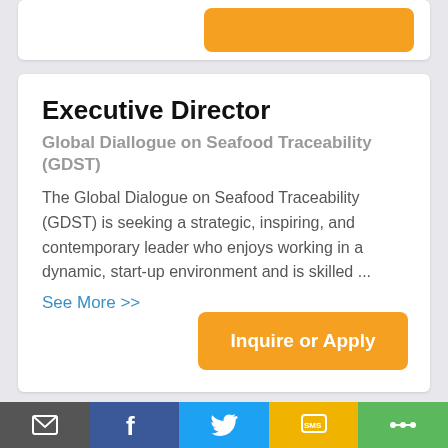Executive Director
Global Diallogue on Seafood Traceability (GDST)
The Global Dialogue on Seafood Traceability (GDST) is seeking a strategic, inspiring, and contemporary leader who enjoys working in a dynamic, start-up environment and is skilled ...
See More >>
Inquire or Apply